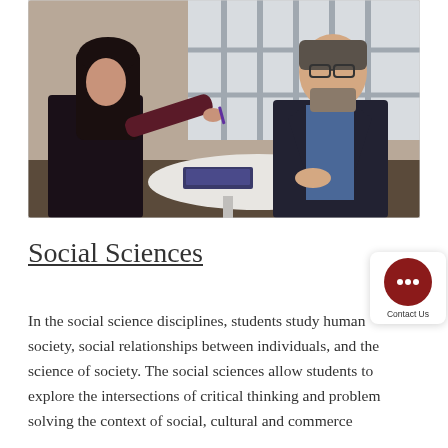[Figure (photo): A woman with long dark hair gestures with a pen while talking to an older man with glasses and a beard wearing a dark suit jacket, seated at a round white table near large windows. There are notebooks and papers on the table, and a white cup in front of the man.]
Social Sciences
In the social science disciplines, students study human society, social relationships between individuals, and the science of society. The social sciences allow students to explore the intersections of critical thinking and problem solving the context of social, cultural and commerce